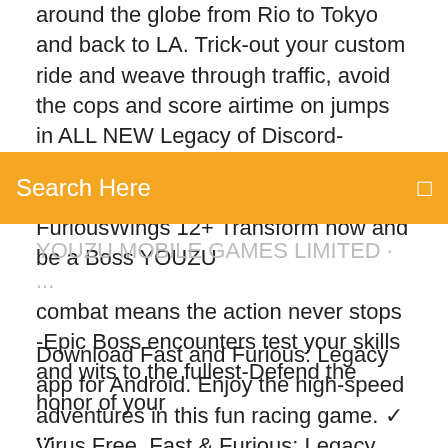around the globe from Rio to Tokyo and back to LA. Trick-out your custom ride and weave through traffic, avoid the cops and score airtime on jumps in ALL NEW Legacy of Discord-FuriousWings on the App Store 07/11/2016 · Legacy of Discord-FuriousWings 12+ Transform now and be a Boss YOUZU GAMES HONGKONG LIMITED · 4 & 5 8k Rati...
Search Here
combat means the action never stops -Epic Boss encounters test your skills and wits to the fullest-Defend the honor of your ...
Download Fast and Furious: Legacy app for Android. Enjoy the high-speed adventures in this fun racing game. ✓ Virus Free. Fast & Furious: Legacy 1.0.3 Download auf Freeware.de. Das offizielle mobile Game zu Fast & Furious 7. Jetzt kostenlos downloaden! 26 กย.ค. 2015 Support Devices : iPhone, iPad,